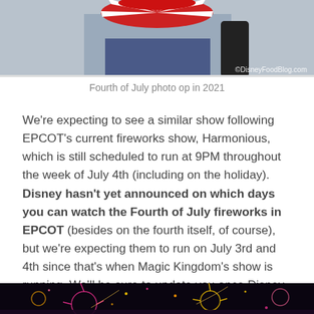[Figure (photo): Top portion of a photo showing a person in patriotic Fourth of July attire with a red and white striped hat, with watermark '©DisneyFoodBlog.com' in the bottom right corner.]
Fourth of July photo op in 2021
We're expecting to see a similar show following EPCOT's current fireworks show, Harmonious, which is still scheduled to run at 9PM throughout the week of July 4th (including on the holiday). Disney hasn't yet announced on which days you can watch the Fourth of July fireworks in EPCOT (besides on the fourth itself, of course), but we're expecting them to run on July 3rd and 4th since that's when Magic Kingdom's show is running. We'll be sure to update you once Disney releases more details.
[Figure (photo): Bottom portion of a photo showing colorful fireworks at night, likely at an EPCOT or Disney park fireworks show, with pinks and golds against a dark sky.]